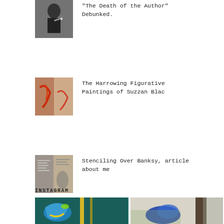[Figure (photo): Black and white photo of a man smoking]
"The Death of the Author" Debunked.
[Figure (photo): Abstract figurative painting with red tones]
The Harrowing Figurative Paintings of Suzzan Blac
[Figure (photo): Street art and newspaper collage image]
Stenciling Over Banksy, article about me
INSTAGRAM
[Figure (photo): Colorful painting of a dragon or creature on a bus]
[Figure (photo): Blue sculptural form near a tree]